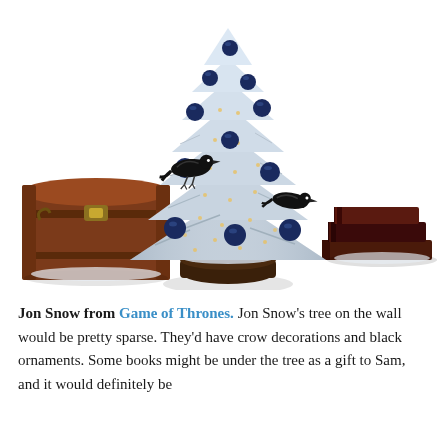[Figure (illustration): A snow-flocked white Christmas tree decorated with dark navy blue ball ornaments and two black crow/raven decorations perched on the branches. On the left sits a vintage brown leather trunk/chest. On the right is a stack of old dark leather-bound books. White background.]
Jon Snow from Game of Thrones. Jon Snow's tree on the wall would be pretty sparse. They'd have crow decorations and black ornaments. Some books might be under the tree as a gift to Sam, and it would definitely be